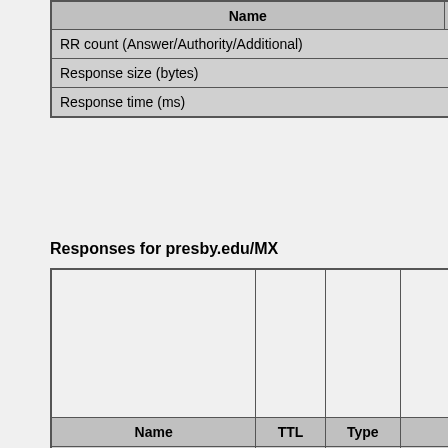| Name | TTL | Type | Data | Status |  |  |
| --- | --- | --- | --- | --- | --- | --- |
| RR count (Answer/Authority/Additional) |  |  |  | OK | 0/1/1 | 0/1/1 |
| Response size (bytes) |  |  |  | OK | 132 | 132 |
| Response time (ms) |  |  |  | OK | 161 | 161 |
Responses for presby.edu/MX
| Name | TTL | Type | Data | Status |  |
| --- | --- | --- | --- | --- | --- |
| presby.edu | 300 | MX |  | OK |  |